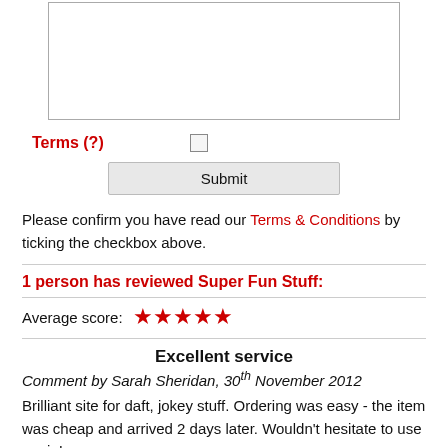[Figure (screenshot): A textarea input box, partially visible at the top of the page]
Terms (?)
Submit
Please confirm you have read our Terms & Conditions by ticking the checkbox above.
1 person has reviewed Super Fun Stuff:
Average score: ★★★★★
Excellent service
Comment by Sarah Sheridan, 30th November 2012
Brilliant site for daft, jokey stuff. Ordering was easy - the item was cheap and arrived 2 days later. Wouldn't hesitate to use again!